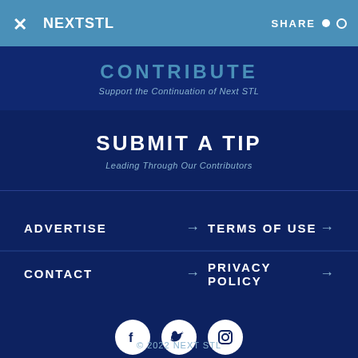NEXTSTL | SHARE
CONTRIBUTE
Support the Continuation of Next STL
SUBMIT A TIP
Leading Through Our Contributors
ADVERTISE →
TERMS OF USE →
CONTACT →
PRIVACY POLICY →
[Figure (infographic): Social media icons: Facebook, Twitter, Instagram in white circles on dark blue background]
© 2022 NEXT STL